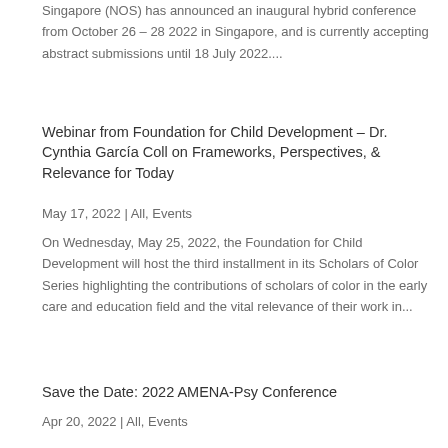Singapore (NOS) has announced an inaugural hybrid conference from October 26 – 28 2022 in Singapore, and is currently accepting abstract submissions until 18 July 2022....
Webinar from Foundation for Child Development – Dr. Cynthia García Coll on Frameworks, Perspectives, & Relevance for Today
May 17, 2022 | All, Events
On Wednesday, May 25, 2022, the Foundation for Child Development will host the third installment in its Scholars of Color Series highlighting the contributions of scholars of color in the early care and education field and the vital relevance of their work in...
Save the Date: 2022 AMENA-Psy Conference
Apr 20, 2022 | All, Events